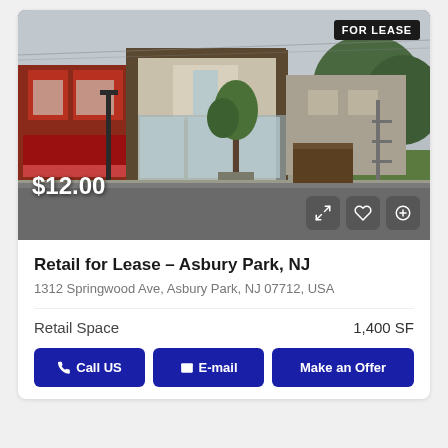[Figure (photo): Street-level photo of a retail storefront at 1312 Springwood Ave, Asbury Park, NJ. Shows a two-story building with large glass windows on ground floor, adjacent red brick building to the left, a young tree in front, and a dumpster nearby. Overcast sky. 'FOR LEASE' badge in upper right corner. Price overlay '$12.00' at lower left with action icon buttons at lower right.]
Retail for Lease – Asbury Park, NJ
1312 Springwood Ave, Asbury Park, NJ 07712, USA
Retail Space   1,400 SF